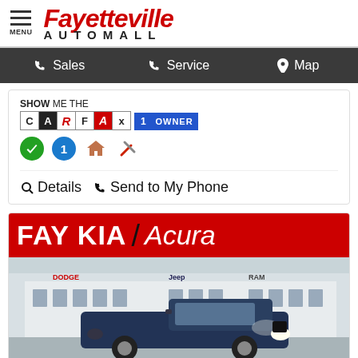Fayetteville AUTOMALL
Sales  Service  Map
[Figure (logo): SHOW ME THE CARFAX 1 OWNER logo badge]
[Figure (infographic): Four badges: green checkmark, blue circle with 1, house icon, wrench/tools icon]
Details  Send to My Phone
[Figure (photo): FAY KIA / Acura dealership banner in red with white text, below it a photo of a dark blue truck in front of a Dodge/Jeep/Ram dealership building]